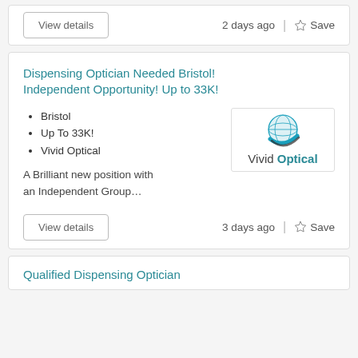View details    2 days ago  |  ☆ Save
Dispensing Optician Needed Bristol! Independent Opportunity! Up to 33K!
Bristol
Up To 33K!
Vivid Optical
[Figure (logo): Vivid Optical company logo with a blue globe/swoosh icon and text 'Vivid Optical']
A Brilliant new position with an Independent Group…
View details    3 days ago  |  ☆ Save
Qualified Dispensing Optician